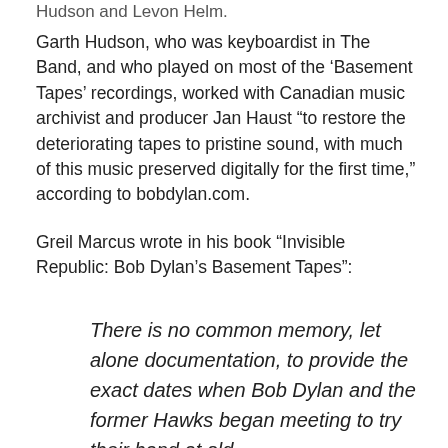Hudson and Levon Helm.
Garth Hudson, who was keyboardist in The Band, and who played on most of the ‘Basement Tapes’ recordings, worked with Canadian music archivist and producer Jan Haust “to restore the deteriorating tapes to pristine sound, with much of this music preserved digitally for the first time,” according to bobdylan.com.
Greil Marcus wrote in his book “Invisible Republic: Bob Dylan’s Basement Tapes”:
There is no common memory, let alone documentation, to provide the exact dates when Bob Dylan and the former Hawks began meeting to try their hand at old